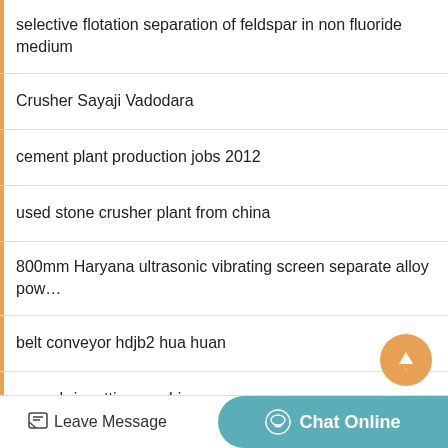selective flotation separation of feldspar in non fluoride medium
Crusher Sayaji Vadodara
cement plant production jobs 2012
used stone crusher plant from china
800mm Haryana ultrasonic vibrating screen separate alloy pow…
belt conveyor hdjb2 hua huan
scrap briquetting machine
Holmes economic new stone briquetting plant price